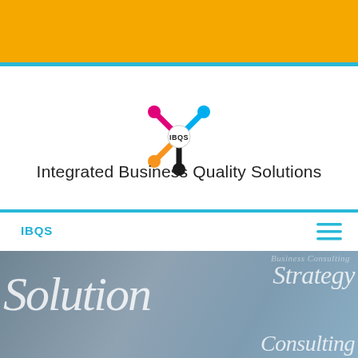[Figure (logo): IBQS logo: colorful X-shaped connector with pink, cyan, yellow, and black nodes, with 'IBQS' text in the center]
Integrated Business Quality Solutions
IBQS
[Figure (photo): Hero image showing a businessman writing with text overlays: 'Solution', 'Strategy', 'Consulting', 'Business Consulting' on a blue-grey background]